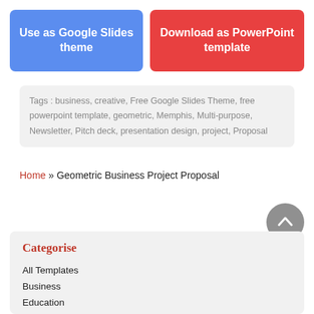[Figure (other): Blue button: Use as Google Slides theme]
[Figure (other): Red button: Download as PowerPoint template]
Tags : business, creative, Free Google Slides Theme, free powerpoint template, geometric, Memphis, Multi-purpose, Newsletter, Pitch deck, presentation design, project, Proposal
Home » Geometric Business Project Proposal
Categorise
All Templates
Business
Education
Multi-purpose